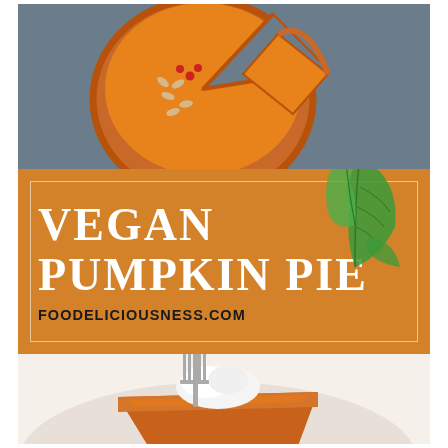[Figure (photo): Overhead view of a whole pumpkin pie with a slice cut out, garnished with pumpkin seeds and red berries, on a dark slate background]
[Figure (infographic): Orange banner with white decorative border, large white text reading VEGAN PUMPKIN PIE, dark URL text FOODELICIOUSNESS.COM, and green botanical leaf illustration in the upper right]
[Figure (photo): Close-up of a slice of pumpkin pie with whipped cream and a fork on a white plate]